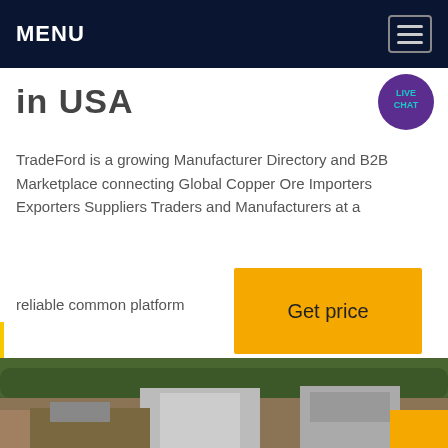MENU
in USA
TradeFord is a growing Manufacturer Directory and B2B Marketplace connecting Global Copper Ore Importers Exporters Suppliers Traders and Manufacturers at a reliable common platform
[Figure (other): Get price button - yellow/amber call to action button]
[Figure (photo): Mining or quarry site with industrial equipment, concrete structures, and green tree-covered hillside in background. Yellow accent overlay in bottom right corner.]